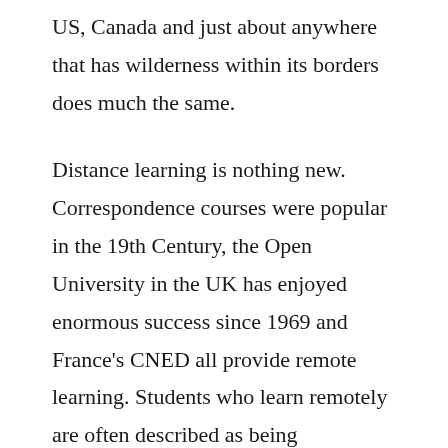US, Canada and just about anywhere that has wilderness within its borders does much the same.
Distance learning is nothing new. Correspondence courses were popular in the 19th Century, the Open University in the UK has enjoyed enormous success since 1969 and France's CNED all provide remote learning. Students who learn remotely are often described as being independent and self-motivated, characteristics that are viewed as being useful. But it is undeniable that those who study alone do not experience everything else that schools offer – opportunities for interaction, social growth and collaborative working. Classrooms offer the chance to balance the logical mind and imagination, accept and develop as a consequence of criticism, encourage